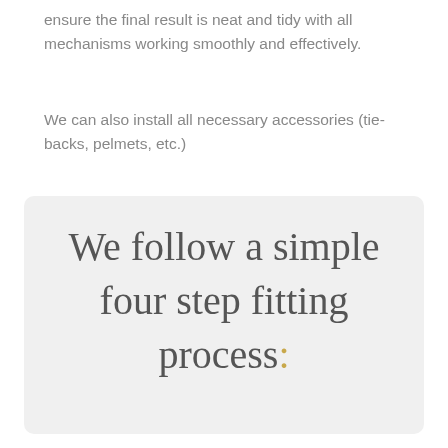ensure the final result is neat and tidy with all mechanisms working smoothly and effectively.
We can also install all necessary accessories (tie-backs, pelmets, etc.)
We follow a simple four step fitting process: